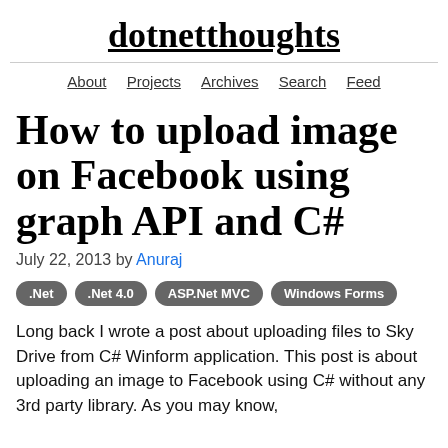dotnetthoughts
About  Projects  Archives  Search  Feed
How to upload image on Facebook using graph API and C#
July 22, 2013 by Anuraj
.Net
.Net 4.0
ASP.Net MVC
Windows Forms
Long back I wrote a post about uploading files to Sky Drive from C# Winform application. This post is about uploading an image to Facebook using C# without any 3rd party library. As you may know,